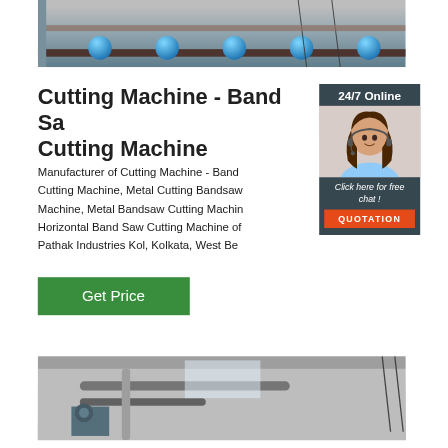[Figure (photo): Industrial cutting machine with blue rollers on a conveyor rail, top photo]
Cutting Machine - Band Saw Cutting Machine
Manufacturer of Cutting Machine - Band Saw Cutting Machine, Metal Cutting Bandsaw Machine, Metal Bandsaw Cutting Machine, Horizontal Band Saw Cutting Machine offered by Pathak Industries Kol, Kolkata, West Bengal
[Figure (photo): 24/7 Online chat widget with female customer service representative wearing headset, with 'Click here for free chat!' text and orange QUOTATION button]
[Figure (photo): Industrial facility interior with pipes and equipment, bottom photo]